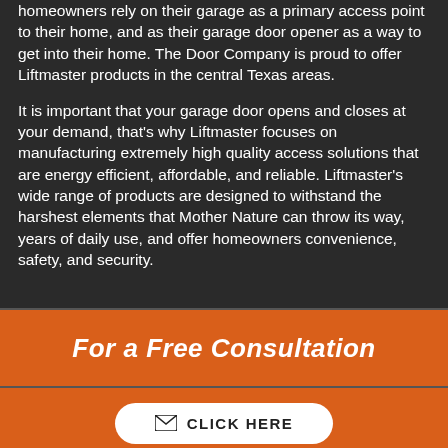homeowners rely on their garage as a primary access point to their home, and as their garage door opener as a way to get into their home. The Door Company is proud to offer Liftmaster products in the central Texas areas.
It is important that your garage door opens and closes at your demand, that’s why Liftmaster focuses on manufacturing extremely high quality access solutions that are energy efficient, affordable, and reliable. Liftmaster’s wide range of products are designed to withstand the harshest elements that Mother Nature can throw its way, years of daily use, and offer homeowners convenience, safety, and security.
For a Free Consultation
CLICK HERE